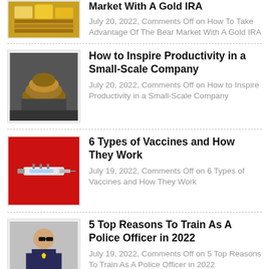How To Take Advantage Of The Bear Market With A Gold IRA
July 20, 2022, Comments Off on How To Take Advantage Of The Bear Market With A Gold IRA
How to Inspire Productivity in a Small-Scale Company
July 20, 2022, Comments Off on How to Inspire Productivity in a Small-Scale Company
6 Types of Vaccines and How They Work
July 19, 2022, Comments Off on 6 Types of Vaccines and How They Work
5 Top Reasons To Train As A Police Officer in 2022
July 19, 2022, Comments Off on 5 Top Reasons To Train As A Police Officer in 2022
Are Autonomous Freight Trucks the Answer?
July 13, 2022, Comments Off on Are Autonomous Freight Trucks the Answer?
5 Reasons Eco-Friendly People like Vikki Nicolai La Crosse WI Say It's Never Too Late To Start Going Green